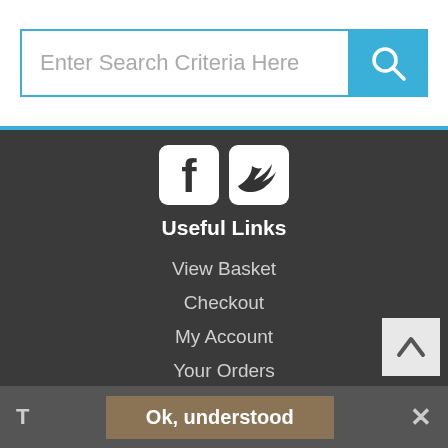Enter Search Criteria Here
[Figure (screenshot): Facebook and Twitter social media icons in white on dark rounded square backgrounds]
Useful Links
View Basket
Checkout
My Account
Your Orders
Privacy Statement
Returns Policy
Terms And Conditions
Login
Search Tools
Advanced Search
Ok, understood